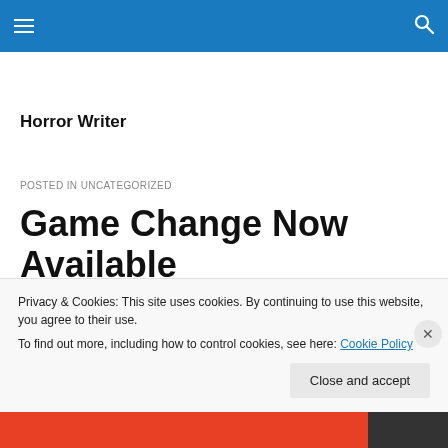Navigation bar with hamburger menu and search icon
Horror Writer
POSTED IN UNCATEGORIZED
Game Change Now Available
My newest short story: Game Change
Privacy & Cookies: This site uses cookies. By continuing to use this website, you agree to their use.
To find out more, including how to control cookies, see here: Cookie Policy
Close and accept